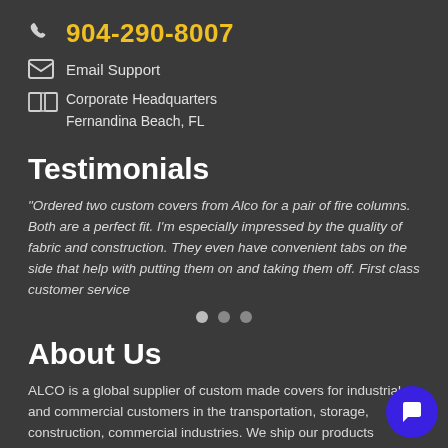904-290-8007
Email Support
Corporate Headquarters
Fernandina Beach, FL
Testimonials
"Ordered two custom covers from Alco for a pair of fire columns. Both are a perfect fit. I'm especially impressed by the quality of fabric and construction. They even have convenient tabs on the side that help with putting them on and taking them off. First class customer service
[Figure (other): Carousel navigation dots (3 dots, first active)]
About Us
ALCO is a global supplier of custom made covers for industrial and commercial customers in the transportation, storage, construction, commercial industries. We ship our products anywhere in North America to meet your needs and timeline. LEARN MORE ABOUT US